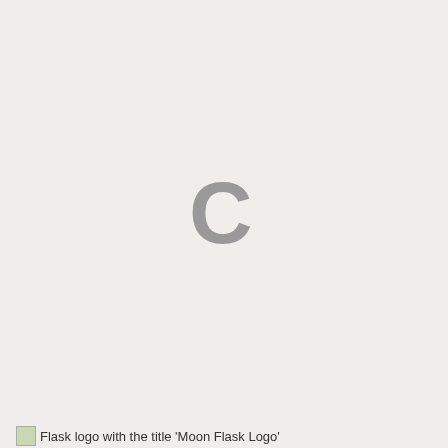[Figure (other): A large gray letter C centered on the page, representing a loading spinner or placeholder icon on a light gray background.]
Flask logo with the title 'Moon Flask Logo'